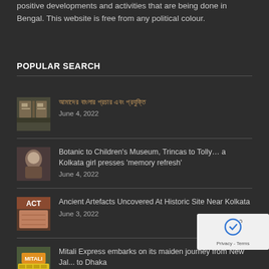positive developments and activities that are being done in Bengal. This website is free from any political colour.
POPULAR SEARCH
Bengali text article title
June 4, 2022
Botanic to Children's Museum, Trincas to Tolly… a Kolkata girl presses 'memory refresh'
June 4, 2022
Ancient Artefacts Uncovered At Historic Site Near Kolkata
June 3, 2022
Mitali Express embarks on its maiden journey from New Jal... to Dhaka